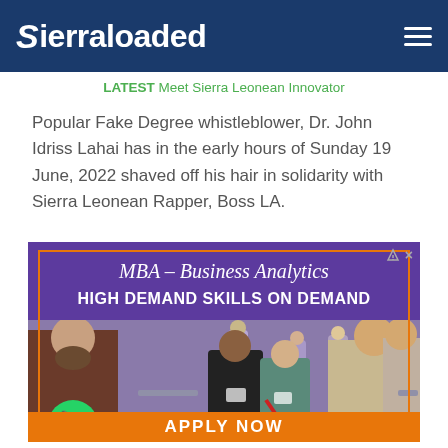Sierraloaded
LATEST Meet Sierra Leonean Innovator
Popular Fake Degree whistleblower, Dr. John Idriss Lahai has in the early hours of Sunday 19 June, 2022 shaved off his hair in solidarity with Sierra Leonean Rapper, Boss LA.
[Figure (photo): Advertisement banner for MBA Business Analytics program with photo of business networking event showing people in professional attire talking at a conference.]